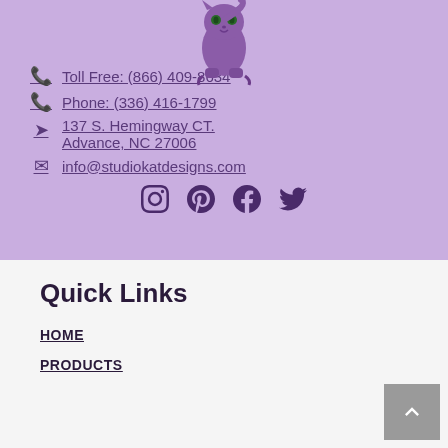[Figure (illustration): Purple cartoon cat mascot for Studio Kat Designs, shown from the front with green eyes and bat-wing-like feet]
Toll Free: (866) 409-8634
Phone: (336) 416-1799
137 S. Hemingway CT. Advance, NC 27006
info@studiokatdesigns.com
[Figure (illustration): Social media icons: Instagram, Pinterest, Facebook, Twitter]
Quick Links
HOME
PRODUCTS